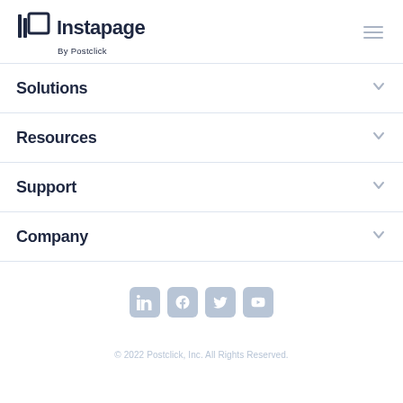[Figure (logo): Instapage by Postclick logo with vertical bar icon on the left and hamburger menu on the right]
Solutions
Resources
Support
Company
[Figure (infographic): Social media icons row: LinkedIn, Facebook, Twitter, YouTube]
© 2022 Postclick, Inc. All Rights Reserved.